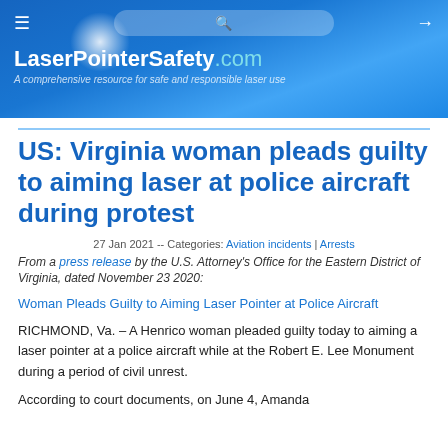LaserPointerSafety.com — A comprehensive resource for safe and responsible laser use
US: Virginia woman pleads guilty to aiming laser at police aircraft during protest
27 Jan 2021 -- Categories: Aviation incidents | Arrests
From a press release by the U.S. Attorney's Office for the Eastern District of Virginia, dated November 23 2020:
Woman Pleads Guilty to Aiming Laser Pointer at Police Aircraft
RICHMOND, Va. – A Henrico woman pleaded guilty today to aiming a laser pointer at a police aircraft while at the Robert E. Lee Monument during a period of civil unrest.
According to court documents, on June 4, Amanda